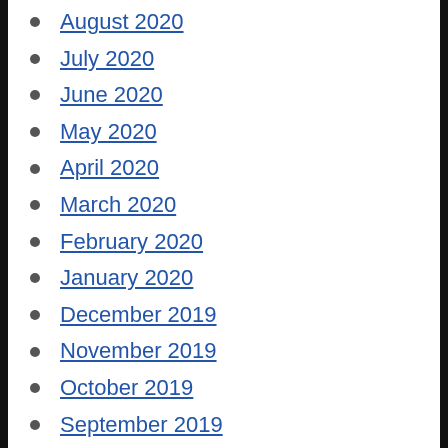August 2020
July 2020
June 2020
May 2020
April 2020
March 2020
February 2020
January 2020
December 2019
November 2019
October 2019
September 2019
August 2019
July 2019
June 2019
May 2019
April 2019